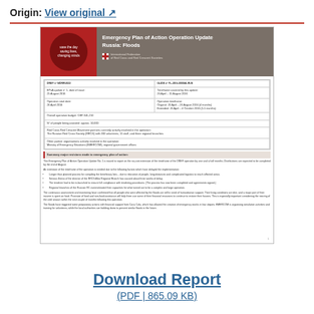Origin: View original ↗
[Figure (other): Thumbnail preview of a PDF document: Emergency Plan of Action Operation Update - Russia: Floods. Shows a red and grey header with IFRC logo, an information table, and body text with bullet points.]
Download Report
(PDF | 865.09 KB)